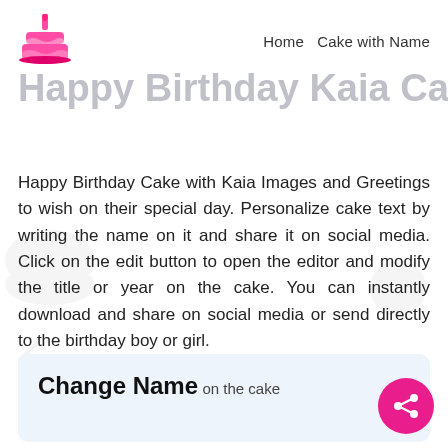Home  Cake with Name
Happy Birthday Kaia Cake
Happy Birthday Cake with Kaia Images and Greetings to wish on their special day. Personalize cake text by writing the name on it and share it on social media. Click on the edit button to open the editor and modify the title or year on the cake. You can instantly download and share on social media or send directly to the birthday boy or girl.
Change Name
on the cake